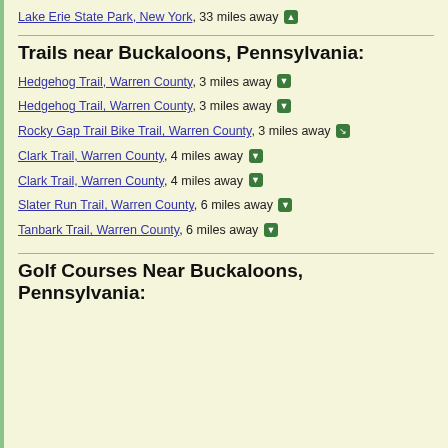Lake Erie State Park, New York, 33 miles away ↑
Trails near Buckaloons, Pennsylvania:
Hedgehog Trail, Warren County, 3 miles away ↓
Hedgehog Trail, Warren County, 3 miles away ↓
Rocky Gap Trail Bike Trail, Warren County, 3 miles away ↘
Clark Trail, Warren County, 4 miles away ↓
Clark Trail, Warren County, 4 miles away ↓
Slater Run Trail, Warren County, 6 miles away ↓
Tanbark Trail, Warren County, 6 miles away ↓
Golf Courses Near Buckaloons, Pennsylvania: